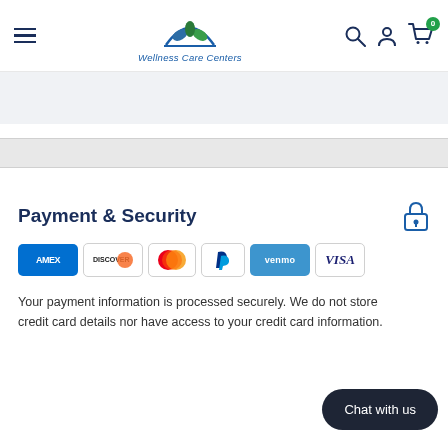Wellness Care Centers
Payment & Security
[Figure (logo): Payment method icons: AMEX, Discover, Mastercard, PayPal, Venmo, Visa]
Your payment information is processed securely. We do not store credit card details nor have access to your credit card information.